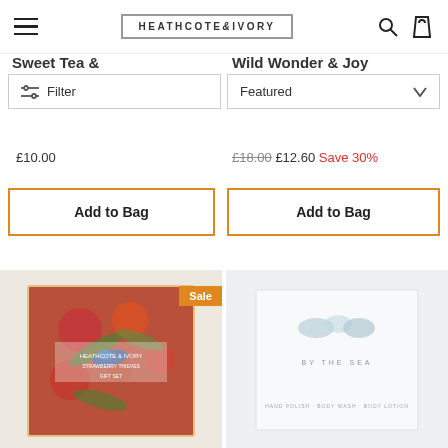HEATHCOTE & IVORY
Sweet Tea &
Wild Wonder & Joy
Filter
Featured
£10.00
£18.00 £12.60 Save 30%
Add to Bag
Add to Bag
[Figure (photo): Decorative floral patterned product with rich botanical illustration, Sale badge in orange]
[Figure (photo): Light blue/white product labeled 'BY THE SEA' with soap or bath items]